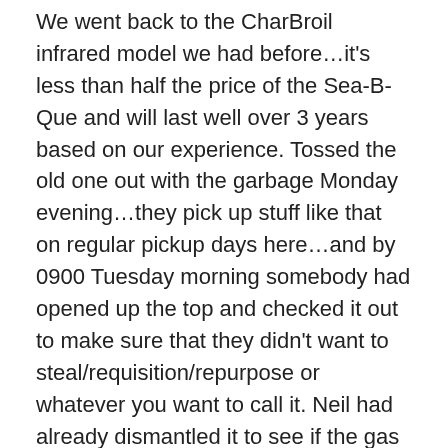We went back to the CharBroil infrared model we had before…it's less than half the price of the Sea-B-Que and will last well over 3 years based on our experience. Tossed the old one out with the garbage Monday evening…they pick up stuff like that on regular pickup days here…and by 0900 Tuesday morning somebody had opened up the top and checked it out to make sure that they didn't want to steal/requisition/repurpose or whatever you want to call it. Neil had already dismantled it to see if the gas valve was aa standard valve and if so he would have kept it as a spare for the CharBroil but it is designed differently so out it went.
In other exciting news…we used to have garbage pickup on Tuesday and recycle on Friday…that got changed effective Nov 1 to both on Tuesday by the county.
Ok…let's see what's happening in the news this week…